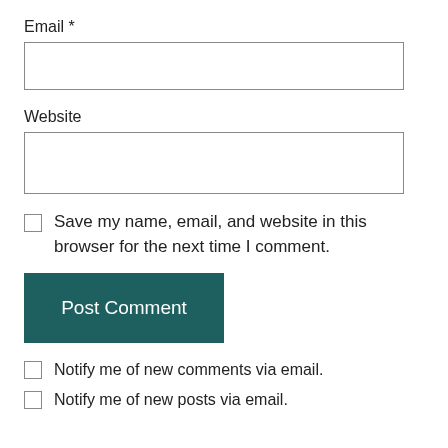Email *
[Figure (other): Email text input field (empty)]
Website
[Figure (other): Website text input field (empty)]
Save my name, email, and website in this browser for the next time I comment.
[Figure (other): Post Comment button with dark teal background]
Notify me of new comments via email.
Notify me of new posts via email.